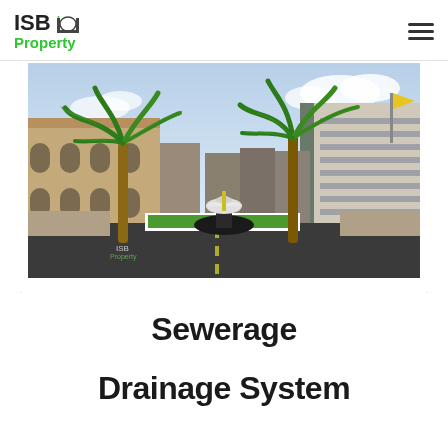ISB Property
[Figure (photo): 3D architectural rendering of a residential/commercial street scene with palm trees in the foreground, a central roundabout with a monument, multi-story buildings on both sides, and a paved road. The ISB Property watermark is visible in the top-left corner of the image.]
Sewerage

Drainage System